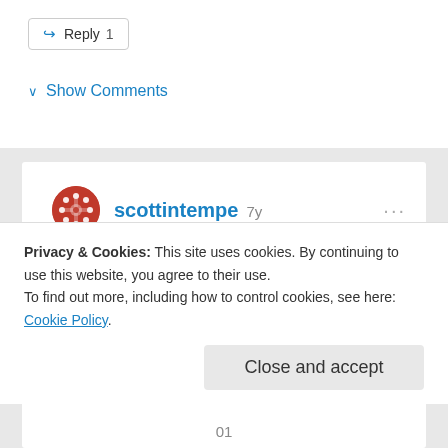Reply 1
Show Comments
scottintempe 7y
The Book of Mormon Made Harder, Nephi's Prayers
[Figure (screenshot): Tree-of-life image placeholder with text 'The']
Privacy & Cookies: This site uses cookies. By continuing to use this website, you agree to their use.
To find out more, including how to control cookies, see here: Cookie Policy
Close and accept
01